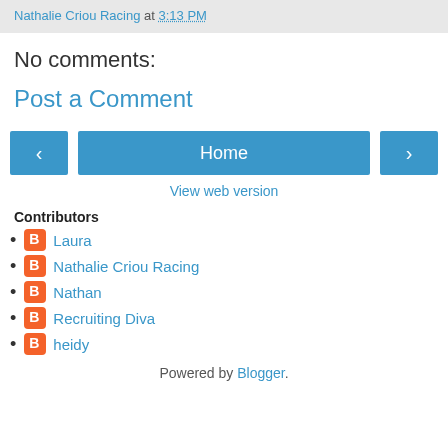Nathalie Criou Racing at 3:13 PM
No comments:
Post a Comment
[Figure (other): Navigation buttons: left arrow, Home button, right arrow]
View web version
Contributors
Laura
Nathalie Criou Racing
Nathan
Recruiting Diva
heidy
Powered by Blogger.